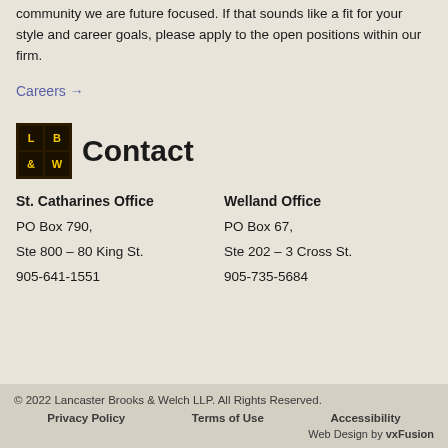community we are future focused. If that sounds like a fit for your style and career goals, please apply to the open positions within our firm.
Careers →
Contact
St. Catharines Office
PO Box 790,
Ste 800 – 80 King St.
905-641-1551
Welland Office
PO Box 67,
Ste 202 – 3 Cross St.
905-735-5684
© 2022 Lancaster Brooks & Welch LLP. All Rights Reserved.
Privacy Policy   Terms of Use   Accessibility
Web Design by vxFusion